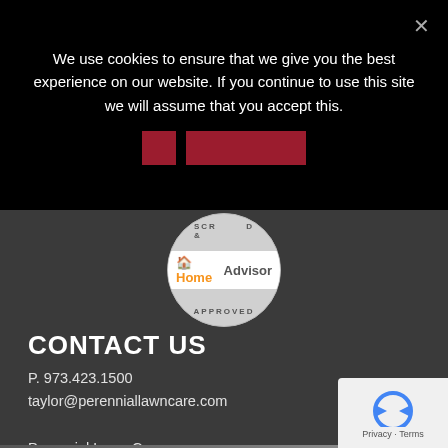We use cookies to ensure that we give you the best experience on our website. If you continue to use this site we will assume that you accept this.
[Figure (logo): HomeAdvisor Screened & Approved badge - circular badge with HomeAdvisor logo in center and 'SCREENED & APPROVED' text around the perimeter]
CONTACT US
P. 973.423.1500
taylor@perenniallawncare.com

Perennial Lawn Care
255 Greenwood Ave
Midland Park, NJ 07432
[Figure (logo): Google reCAPTCHA logo - circular arrow icon in blue, with 'Privacy - Terms' text below]